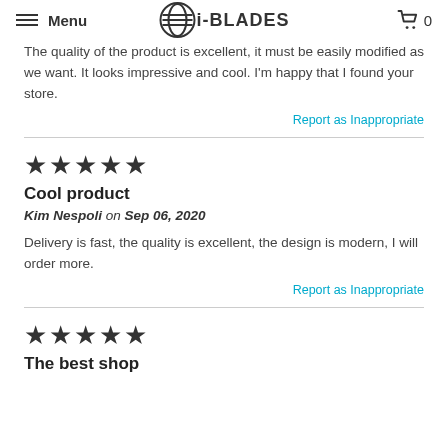Menu | i-BLADES | 0
The quality of the product is excellent, it must be easily modified as we want. It looks impressive and cool. I'm happy that I found your store.
Report as Inappropriate
★★★★★
Cool product
Kim Nespoli on Sep 06, 2020
Delivery is fast, the quality is excellent, the design is modern, I will order more.
Report as Inappropriate
★★★★★
The best shop